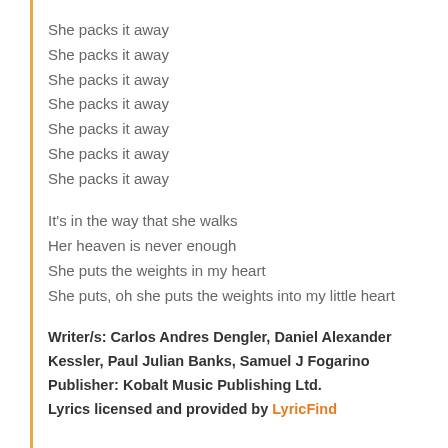She packs it away
She packs it away
She packs it away
She packs it away
She packs it away
She packs it away
She packs it away
It's in the way that she walks
Her heaven is never enough
She puts the weights in my heart
She puts, oh she puts the weights into my little heart
Writer/s: Carlos Andres Dengler, Daniel Alexander Kessler, Paul Julian Banks, Samuel J Fogarino
Publisher: Kobalt Music Publishing Ltd.
Lyrics licensed and provided by LyricFind